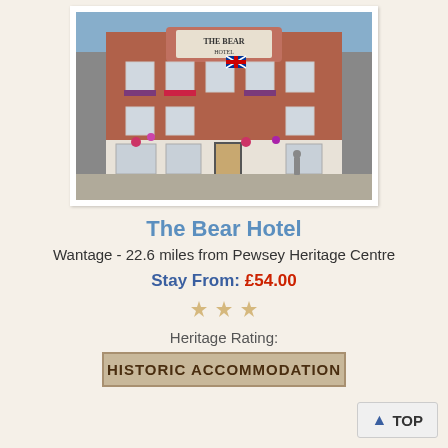[Figure (photo): Exterior photo of The Bear Hotel, a red-brick historic building with white-framed windows, flower baskets, union jack flags, and signage reading 'The Bear Hotel' on the facade.]
The Bear Hotel
Wantage - 22.6 miles from Pewsey Heritage Centre
Stay From: £54.00
[Figure (other): Three star rating icons]
Heritage Rating:
HISTORIC ACCOMMODATION